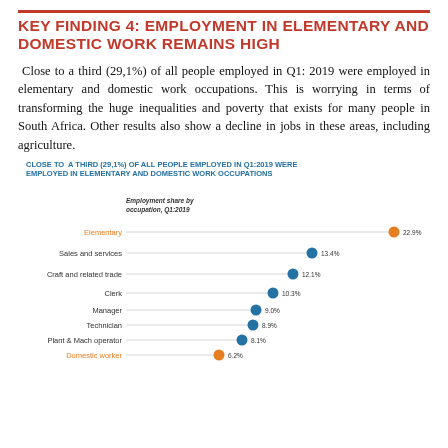KEY FINDING 4: EMPLOYMENT IN ELEMENTARY AND DOMESTIC WORK REMAINS HIGH
Close to a third (29,1%) of all people employed in Q1: 2019 were employed in elementary and domestic work occupations. This is worrying in terms of transforming the huge inequalities and poverty that exists for many people in South Africa. Other results also show a decline in jobs in these areas, including agriculture.
[Figure (bar-chart): CLOSE TO A THIRD (29,1%) OF ALL PEOPLE EMPLOYED IN Q1:2019 WERE EMPLOYED IN ELEMENTARY AND DOMESTIC WORK OCCUPATIONS]